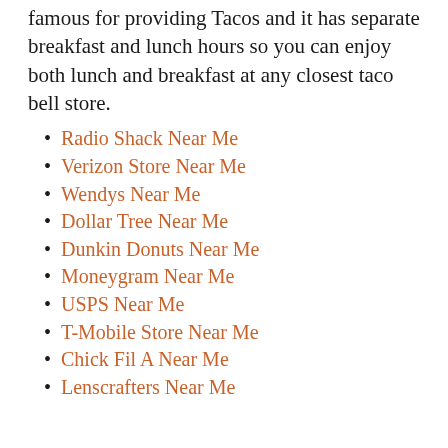famous for providing Tacos and it has separate breakfast and lunch hours so you can enjoy both lunch and breakfast at any closest taco bell store.
Radio Shack Near Me
Verizon Store Near Me
Wendys Near Me
Dollar Tree Near Me
Dunkin Donuts Near Me
Moneygram Near Me
USPS Near Me
T-Mobile Store Near Me
Chick Fil A Near Me
Lenscrafters Near Me